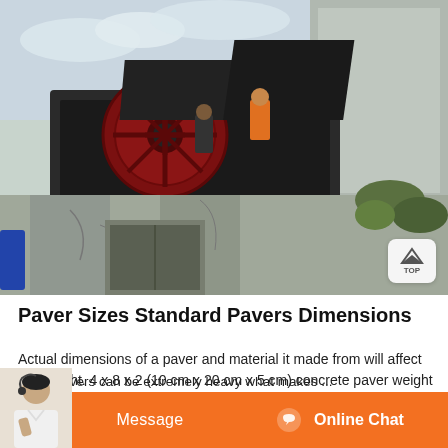[Figure (photo): Industrial stone crusher machine mounted on concrete pillars at a construction site. Workers visible on the machine. A large red flywheel is prominent. Concrete structure visible on the right side.]
Paver Sizes Standard Pavers Dimensions
Actual dimensions of a paver and material it made from will affect the weight. 4 x 8 x 2 (10 cm x 20 cm x 5 cm) concrete paver weight
stone pavers can be extremely heavy what makes ...